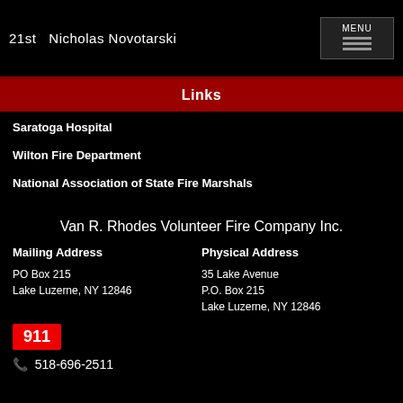21st  Nicholas Novotarski
Links
Saratoga Hospital
Wilton Fire Department
National Association of State Fire Marshals
Van R. Rhodes Volunteer Fire Company Inc.
Mailing Address
PO Box 215
Lake Luzerne, NY 12846
Physical Address
35 Lake Avenue
P.O. Box 215
Lake Luzerne, NY 12846
911
518-696-2511